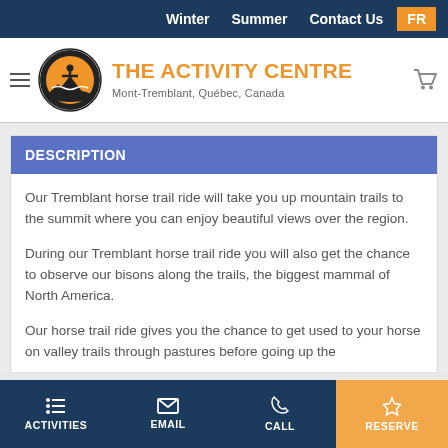Winter  Summer  Contact Us  FR
[Figure (logo): The Activity Centre logo - circular orange and black emblem with figure and mountains, with text 'THE ACTIVITY CENTRE Mont-Tremblant, Québec, Canada']
DESCRIPTION
Our Tremblant horse trail ride will take you up mountain trails to the summit where you can enjoy beautiful views over the region.
During our Tremblant horse trail ride you will also get the chance to observe our bisons along the trails, the biggest mammal of North America.
Our horse trail ride gives you the chance to get used to your horse on valley trails through pastures before going up the
ACTIVITIES  EMAIL  CALL  RESERVE